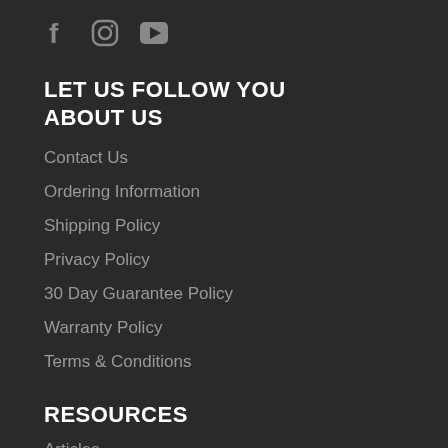[Figure (illustration): Social media icons: Facebook (f), Instagram (camera), YouTube (play button triangle)]
LET US FOLLOW YOU
ABOUT US
Contact Us
Ordering Information
Shipping Policy
Privacy Policy
30 Day Guarantee Policy
Warranty Policy
Terms & Conditions
RESOURCES
Articles